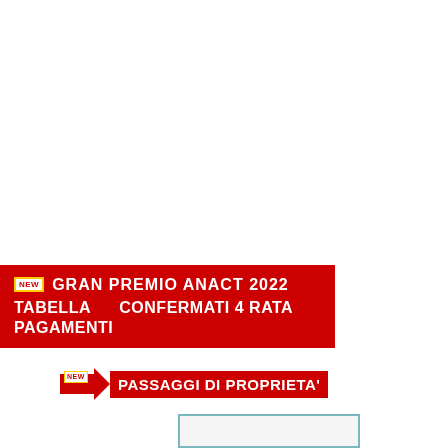NEW GRAN PREMIO ANACT 2022 TABELLA PAGAMENTI CONFERMATI 4 RATA
NEW PASSAGGI DI PROPRIETA'
[Figure (other): Empty light-colored box with teal border at bottom of page]